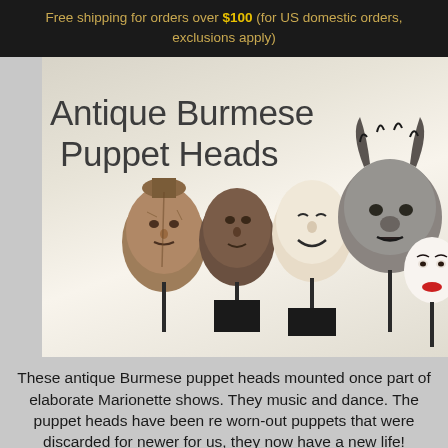Free shipping for orders over $100 (for US domestic orders, exclusions apply)
[Figure (photo): Antique Burmese Puppet Heads — five carved puppet heads mounted on black stands, ranging from weathered stone/clay faces to a painted white face with red lips, and one animal-like masked head with horn-like projections and fur at top right.]
Antique Burmese Puppet Heads
These antique Burmese puppet heads mounted once part of elaborate Marionette shows. They music and dance. The puppet heads have been re worn-out puppets that were discarded for newer for us, they now have a new life!